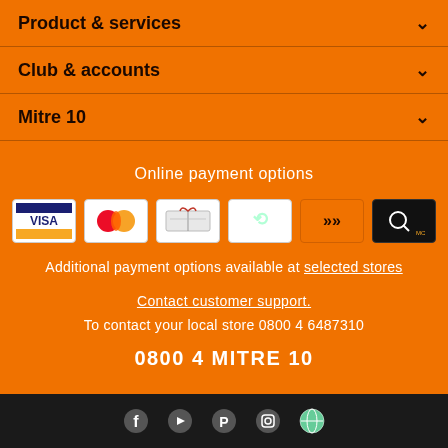Product & services ▾
Club & accounts ▾
Mitre 10 ▾
Online payment options
[Figure (logo): Payment method icons: Visa, Mastercard, Gift card, Afterpay, Laybuy, Q Mastercard]
Additional payment options available at selected stores
Contact customer support.
To contact your local store 0800 4 6487310
0800 4 MITRE 10
[Figure (logo): Social media icons in black footer bar: Facebook, YouTube, Pinterest, Instagram, and a globe/website icon]